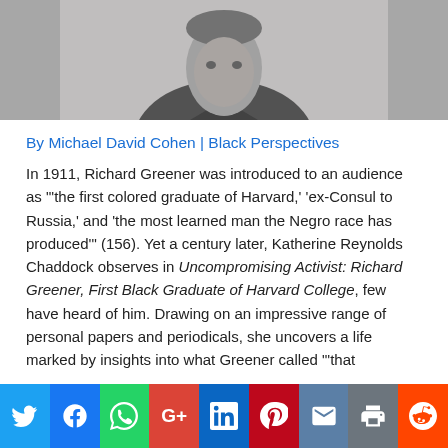[Figure (photo): Black and white historical portrait photograph of Richard Greener, showing upper body with suit and white collar, cropped at top]
By Michael David Cohen | Black Perspectives
In 1911, Richard Greener was introduced to an audience as "'the first colored graduate of Harvard,' 'ex-Consul to Russia,' and 'the most learned man the Negro race has produced'" (156). Yet a century later, Katherine Reynolds Chaddock observes in Uncompromising Activist: Richard Greener, First Black Graduate of Harvard College, few have heard of him. Drawing on an impressive range of personal papers and periodicals, she uncovers a life marked by insights into what Greener called "'that
[Figure (other): Social media sharing buttons bar: Twitter, Facebook, WhatsApp, Google+, LinkedIn, Pinterest, Email, Print, Reddit]